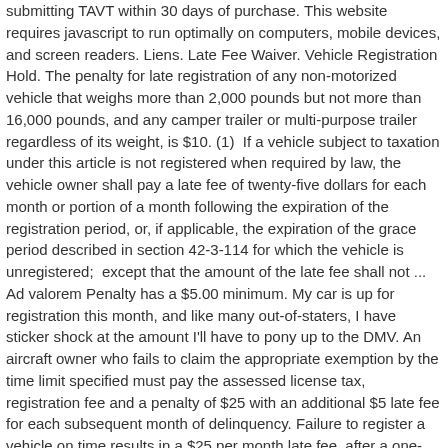submitting TAVT within 30 days of purchase. This website requires javascript to run optimally on computers, mobile devices, and screen readers. Liens. Late Fee Waiver. Vehicle Registration Hold. The penalty for late registration of any non-motorized vehicle that weighs more than 2,000 pounds but not more than 16,000 pounds, and any camper trailer or multi-purpose trailer regardless of its weight, is $10. (1)  If a vehicle subject to taxation under this article is not registered when required by law, the vehicle owner shall pay a late fee of twenty-five dollars for each month or portion of a month following the expiration of the registration period, or, if applicable, the expiration of the grace period described in section 42-3-114 for which the vehicle is unregistered;  except that the amount of the late fee shall not ... Ad valorem Penalty has a $5.00 minimum. My car is up for registration this month, and like many out-of-staters, I have sticker shock at the amount I'll have to pony up to the DMV. An aircraft owner who fails to claim the appropriate exemption by the time limit specified must pay the assessed license tax, registration fee and a penalty of $25 with an additional $5 late fee for each subsequent month of delinquency. Failure to register a vehicle on time results in a $25 per month late fee, after a one-month grace period, up to $100 total. First Regular Session | 73rd General Assembly. Please enable javascript for the best experience. | Resource: Exemptions and Non-Use...